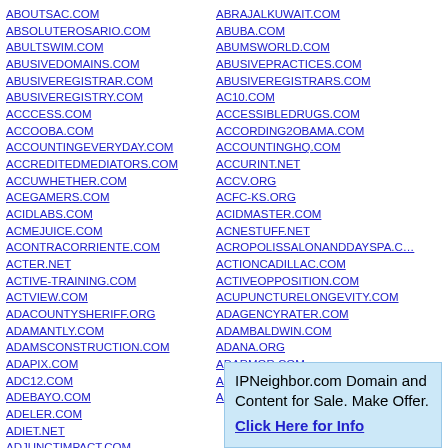ABOUTSAC.COM
ABSOLUTEROSARIO.COM
ABULTSWIM.COM
ABUSIVEDOMAINS.COM
ABUSIVEREGISTRAR.COM
ABUSIVEREGISTRY.COM
ACCCESS.COM
ACCOOBA.COM
ACCOUNTINGEVERYDAY.COM
ACCREDITEDMEDIATORS.COM
ACCUWHETHER.COM
ACEGAMERS.COM
ACIDLABS.COM
ACMEJUICE.COM
ACONTRACORRIENTE.COM
ACTER.NET
ACTIVE-TRAINING.COM
ACTVIEW.COM
ADACOUNTYSHERIFF.ORG
ADAMANTLY.COM
ADAMSCONSTRUCTION.COM
ADAPIX.COM
ADC12.COM
ADEBAYO.COM
ADELER.COM
ADIET.NET
ADJUNCTIMPACT.COM
ADMSWEB.COM
ABRAJALKUWAIT.COM
ABUBA.COM
ABUMSWORLD.COM
ABUSIVEPRACTICES.COM
ABUSIVEREGISTRARS.COM
AC10.COM
ACCESSIBLEDRUGS.COM
ACCORDING2OBAMA.COM
ACCOUNTINGHQ.COM
ACCURINT.NET
ACCV.ORG
ACFC-KS.ORG
ACIDMASTER.COM
ACNESTUFF.NET
ACROPOLISSALONANDDAYSPA.COM
ACTIONCADILLAC.COM
ACTIVEOPPOSITION.COM
ACUPUNCTURELONGEVITY.COM
ADAGENCYRATER.COM
ADAMBALDWIN.COM
ADANA.ORG
ADARMOR.COM
ADDRESSTYPE-IN.COM
ADECO.NET
IPNeighbor.com Domain and Content for Sale. Make Offer. Click Here for Info